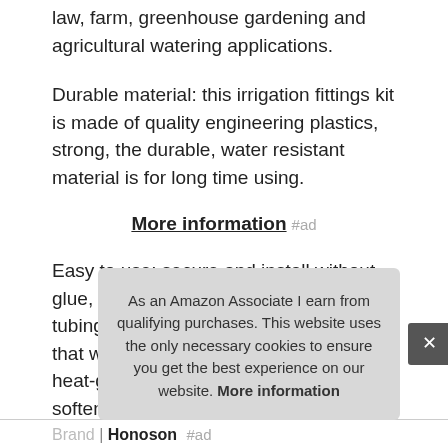law, farm, greenhouse gardening and agricultural watering applications.
Durable material: this irrigation fittings kit is made of quality engineering plastics, strong, the durable, water resistant material is for long time using.
More information #ad
Easy to use: secure and install without glue, tools or clamps, simply push the tubing firmly over the barbs for a tight fit that won't leak; If desired you can use a heat-gun or blow dryer not included to soften the end of the tubing before inserting. Ada[partially obscured] com[partially obscured] you[partially obscured]
As an Amazon Associate I earn from qualifying purchases. This website uses the only necessary cookies to ensure you get the best experience on our website. More information
| Brand |
| --- |
| Honoson #ad |